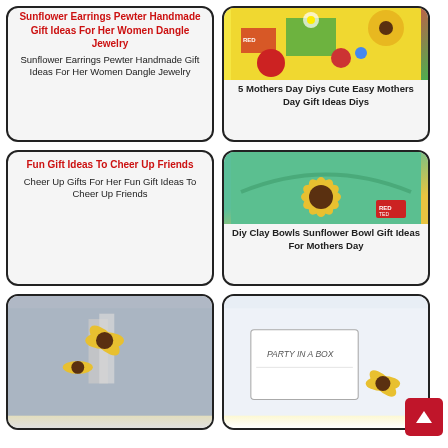[Figure (other): Card 1 top-left: Red title 'Sunflower Earrings Pewter Handmade Gift Ideas For Her Women Dangle Jewelry', black text repeat below]
Sunflower Earrings Pewter Handmade Gift Ideas For Her Women Dangle Jewelry
[Figure (photo): Card 2 top-right: Colorful craft/mothers day DIY photo, text '5 Mothers Day Diys Cute Easy Mothers Day Gift Ideas Diys']
5 Mothers Day Diys Cute Easy Mothers Day Gift Ideas Diys
[Figure (other): Card 3 middle-left: Broken image placeholder for Cheer Up Gifts, red title and black text]
Cheer Up Gifts For Her Fun Gift Ideas To Cheer Up Friends
[Figure (photo): Card 4 middle-right: Sunflower clay bowl image, text 'Diy Clay Bowls Sunflower Bowl Gift Ideas For Mothers Day']
Diy Clay Bowls Sunflower Bowl Gift Ideas For Mothers Day
[Figure (photo): Card 5 bottom-left partial: sunflower arrangement photo]
[Figure (photo): Card 6 bottom-right partial: Party in a box card with sunflower]